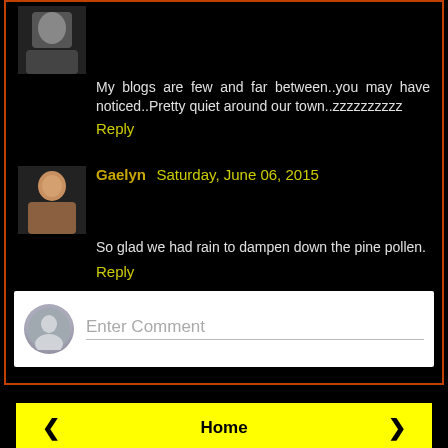My blogs are few and far between..you may have noticed..Pretty quiet around our town..zzzzzzzzzz
Reply
Gaelyn  Saturday, June 06, 2015
So glad we had rain to dampen down the pine pollen.
Reply
Enter Comment
Home
View web version
Powered by Blogger.